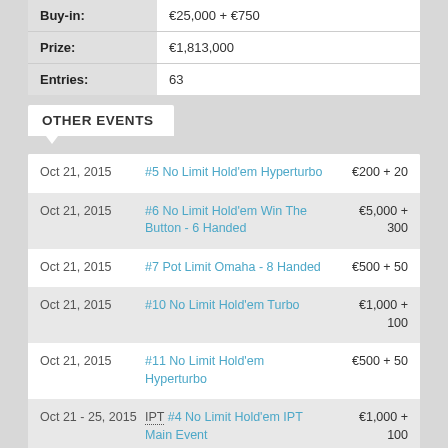| Field | Value |
| --- | --- |
| Buy-in: | €25,000 + €750 |
| Prize: | €1,813,000 |
| Entries: | 63 |
OTHER EVENTS
| Date | Event | Buy-in |
| --- | --- | --- |
| Oct 21, 2015 | #5 No Limit Hold'em Hyperturbo | €200 + 20 |
| Oct 21, 2015 | #6 No Limit Hold'em Win The Button - 6 Handed | €5,000 + 300 |
| Oct 21, 2015 | #7 Pot Limit Omaha - 8 Handed | €500 + 50 |
| Oct 21, 2015 | #10 No Limit Hold'em Turbo | €1,000 + 100 |
| Oct 21, 2015 | #11 No Limit Hold'em Hyperturbo | €500 + 50 |
| Oct 21 - 25, 2015 | IPT #4 No Limit Hold'em IPT Main Event | €1,000 + 100 |
|  | #8 No Limit Hold'em Malta Poker … |  |